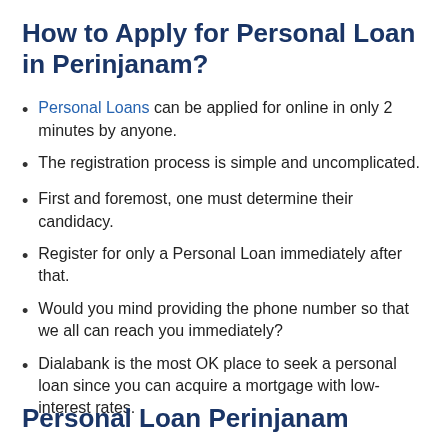How to Apply for Personal Loan in Perinjanam?
Personal Loans can be applied for online in only 2 minutes by anyone.
The registration process is simple and uncomplicated.
First and foremost, one must determine their candidacy.
Register for only a Personal Loan immediately after that.
Would you mind providing the phone number so that we all can reach you immediately?
Dialabank is the most OK place to seek a personal loan since you can acquire a mortgage with low-interest rates.
Personal Loan Perinjanam